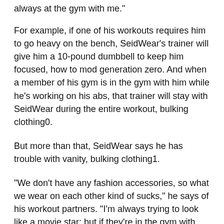always at the gym with me."
For example, if one of his workouts requires him to go heavy on the bench, SeidWear's trainer will give him a 10-pound dumbbell to keep him focused, how to mod generation zero. And when a member of his gym is in the gym with him while he's working on his abs, that trainer will stay with SeidWear during the entire workout, bulking clothing0.
But more than that, SeidWear says he has trouble with vanity, bulking clothing1.
"We don't have any fashion accessories, so what we wear on each other kind of sucks," he says of his workout partners. "I'm always trying to look like a movie star; but if they're in the gym with me, they're all on me, bulking clothing2. I don't mean to get vulgar about it, but it's not the greatest."